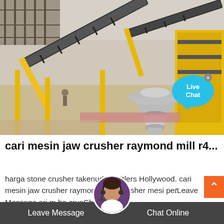[Figure (photo): Aerial/ground-level view of an industrial stone crushing plant with yellow machinery, conveyor belts, and a cone crusher. A 'Live Chat' speech bubble UI overlay appears in the top-right area of the image.]
cari mesin jaw crusher raymond mill r4...
harga stone crusher takenuda - Hitlers Hollywood. cari mesin jaw crusher raymond... harga crusher mesin... peti... cari m... he crus... Chat Online...
Leave Message   Chat Online